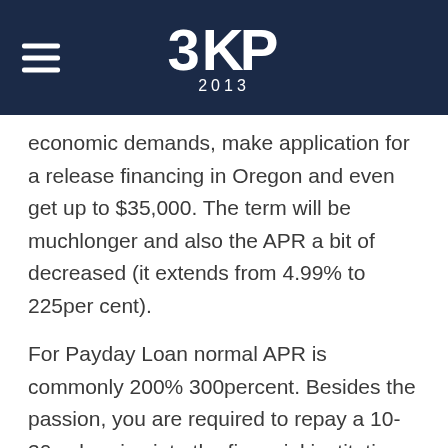3KP 2013
economic demands, make application for a release financing in Oregon and even get up to $35,000. The term will be muchlonger and also the APR a bit of decreased (it extends from 4.99% to 225per cent).
For Payday Loan normal APR is commonly 200% 300percent. Besides the passion, you are required to repay a 10-30 sale price into the financial institution. Whichs all. You have to know that wage advance become used for an incredibly rapid time of 14-30 time. This implies one wont overpay much. Besides their the best